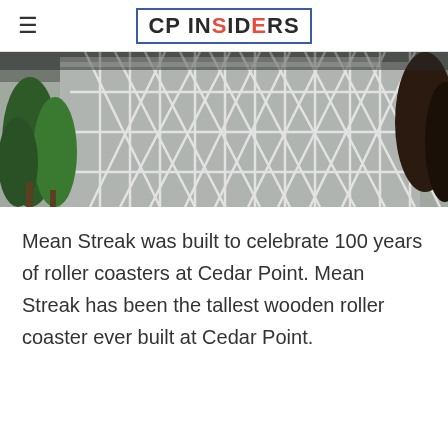CP INSIDERS
[Figure (photo): Close-up photo of the wooden roller coaster structure of Mean Streak at Cedar Point, with green trees on the left and dark trees on the right, taken from a low angle looking up.]
Mean Streak was built to celebrate 100 years of roller coasters at Cedar Point. Mean Streak has been the tallest wooden roller coaster ever built at Cedar Point.